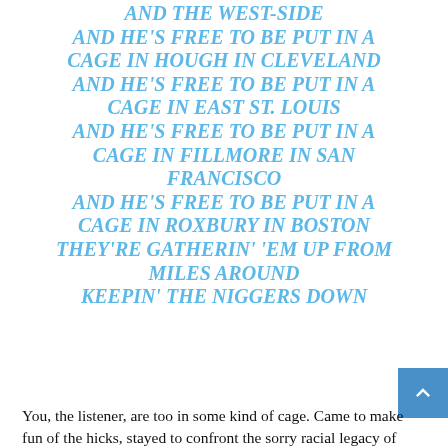AND THE WEST-SIDE AND HE'S FREE TO BE PUT IN A CAGE IN HOUGH IN CLEVELAND AND HE'S FREE TO BE PUT IN A CAGE IN EAST ST. LOUIS AND HE'S FREE TO BE PUT IN A CAGE IN FILLMORE IN SAN FRANCISCO AND HE'S FREE TO BE PUT IN A CAGE IN ROXBURY IN BOSTON THEY'RE GATHERIN' 'EM UP FROM MILES AROUND KEEPIN' THE NIGGERS DOWN
You, the listener, are too in some kind of cage. Came to make fun of the hicks, stayed to confront the sorry racial legacy of